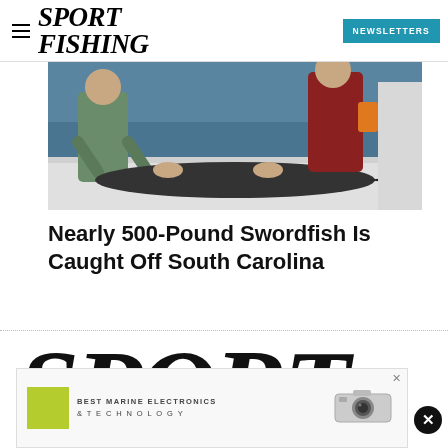SPORT FISHING | NEWSLETTERS
[Figure (photo): Two people on a boat handling a large swordfish on the deck, ocean visible in background]
Nearly 500-Pound Swordfish Is Caught Off South Carolina
[Figure (logo): Sport Fishing magazine large logo in black serif italic font with gray shadow text below]
[Figure (other): Advertisement banner: Best Marine Electronics & Technology with camera image and close button]